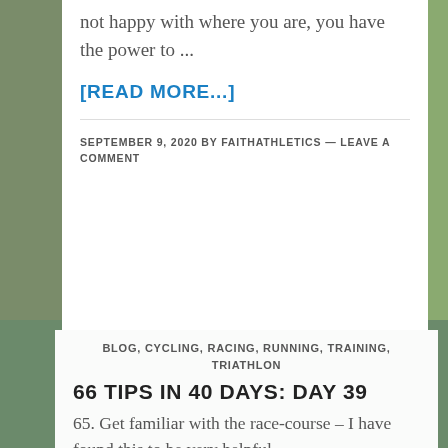not happy with where you are, you have the power to ...
[READ MORE...]
SEPTEMBER 9, 2020 BY FAITHATHLETICS — LEAVE A COMMENT
BLOG, CYCLING, RACING, RUNNING, TRAINING, TRIATHLON
66 TIPS IN 40 DAYS: DAY 39
65. Get familiar with the race-course – I have found this to be very helpful,